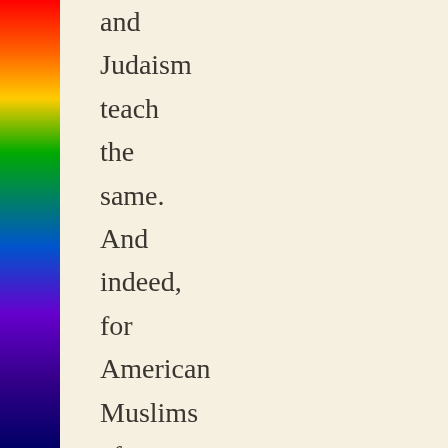[Figure (illustration): Vertical rainbow-colored bar on the left side of the page, spanning full height with colors from red at top through orange, yellow, green, blue, indigo, violet, dark blue at bottom.]
and Judaism teach the same. And indeed, for American Muslims after 9/11, the solidarity expressed by mainstream Christian and Jewish organizations for their Muslim